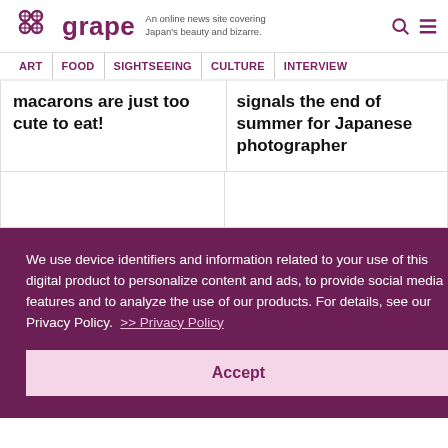grape — An online news site covering Japan's beauty and bizarre.
ART | FOOD | SIGHTSEEING | CULTURE | INTERVIEW
macarons are just too cute to eat!
signals the end of summer for Japanese photographer
We use device identifiers and information related to your use of this digital product to personalize content and ads, to provide social media features and to analyze the use of our products. For details, see our Privacy Policy.  >> Privacy Policy
Accept
buy grapes